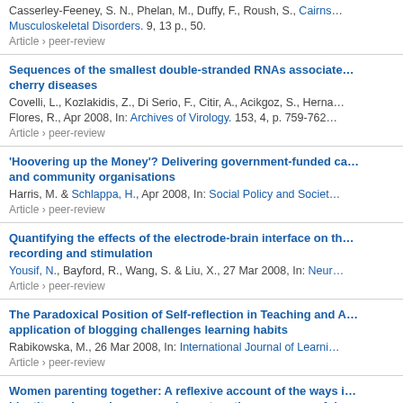Casserley-Feeney, S. N., Phelan, M., Duffy, F., Roush, S., Cairns... Musculoskeletal Disorders. 9, 13 p., 50.
Article › peer-review
Sequences of the smallest double-stranded RNAs associate... cherry diseases
Covelli, L., Kozlakidis, Z., Di Serio, F., Citir, A., Acikgoz, S., Herna... Flores, R., Apr 2008, In: Archives of Virology. 153, 4, p. 759-762...
Article › peer-review
'Hoovering up the Money'? Delivering government-funded ca... and community organisations
Harris, M. & Schlappa, H., Apr 2008, In: Social Policy and Societ...
Article › peer-review
Quantifying the effects of the electrode-brain interface on th... recording and stimulation
Yousif, N., Bayford, R., Wang, S. & Liu, X., 27 Mar 2008, In: Neur...
Article › peer-review
The Paradoxical Position of Self-reflection in Teaching and A... application of blogging challenges learning habits
Rabikowska, M., 26 Mar 2008, In: International Journal of Learni...
Article › peer-review
Women parenting together: A reflexive account of the ways i... identity and experiences may impact on the processes of do...
Almack, K., 21 Mar 2008, In: Sociological Research Online. 13, 1...
Article › peer-review
Covariant particle exchange for kappa-deformed theories in...
Young, C. A. S. & Zegers, R., 18 Mar 2008, In: Nuclear Physics B...
Article › peer-review
Inhibition of androgen-independent prostate cancer cell gro... targeting Hedgehog and ErbB signalling